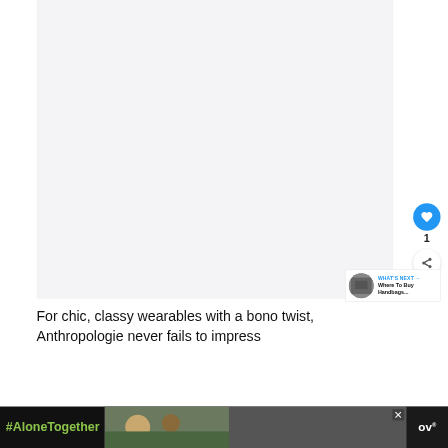[Figure (photo): Large light gray image placeholder area taking up most of the upper portion of the page]
[Figure (infographic): Blue circular heart/like button with count '1' below it and a white circular share button]
[Figure (infographic): WHAT'S NEXT panel with thumbnail and text 'Where To Buy Handbags...']
For chic, classy wearables with a bono twist, Anthropologie never fails to impress
[Figure (infographic): Ad bar at the bottom with #AloneTogether hashtag in green, a photo of a man and child, an X close button, and a logo on the right]